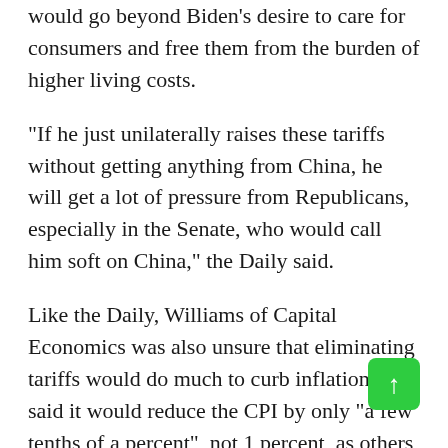would go beyond Biden's desire to care for consumers and free them from the burden of higher living costs.
“If he just unilaterally raises these tariffs without getting anything from China, he will get a lot of pressure from Republicans, especially in the Senate, who would call him soft on China,” the Daily said.
Like the Daily, Williams of Capital Economics was also unsure that eliminating tariffs would do much to curb inflation. He said it would reduce the CPI by only “a few tenths of a percent”, not 1 percent, as others had predicted.
“The imposition of tariffs has not led to much